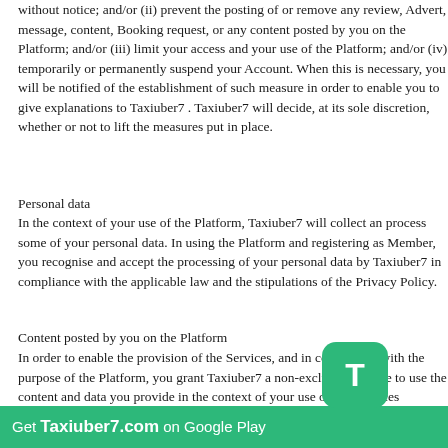without notice; and/or (ii) prevent the posting of or remove any review, Advert, message, content, Booking request, or any content posted by you on the Platform; and/or (iii) limit your access and your use of the Platform; and/or (iv) temporarily or permanently suspend your Account. When this is necessary, you will be notified of the establishment of such measure in order to enable you to give explanations to Taxiuber7 . Taxiuber7 will decide, at its sole discretion, whether or not to lift the measures put in place.
Personal data
In the context of your use of the Platform, Taxiuber7 will collect and process some of your personal data. In using the Platform and registering as Member, you recognise and accept the processing of your personal data by Taxiuber7 in compliance with the applicable law and the stipulations of the Privacy Policy.
Content posted by you on the Platform
In order to enable the provision of the Services, and in compliance with the purpose of the Platform, you grant Taxiuber7 a non-exclusive licence to use the content and data you provide in the context of your use of the Services (hereinafter referred to as your "Member Content"). In order to enable Taxiuber7 to distribute via the digital network and in accordance with any communication protocol (notably internet and mobile network), and to provide the content of the Platform to the public, Taxiuber7 f